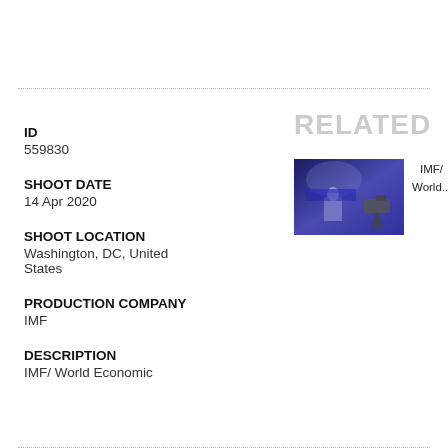ID
559830
RELATED
SHOOT DATE
14 Apr 2020
[Figure (photo): A person presenting at a podium in a studio with blue lighting and a camera in the foreground.]
IMF/ World...
SHOOT LOCATION
Washington, DC, United States
PRODUCTION COMPANY
IMF
DESCRIPTION
IMF/ World Economic